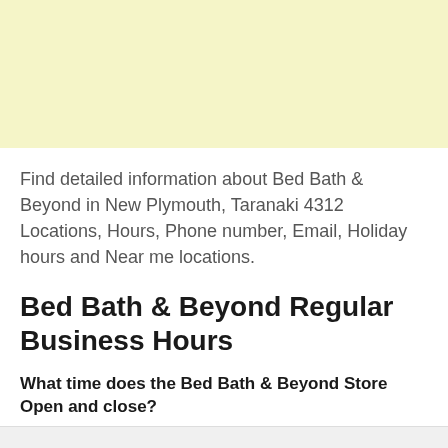[Figure (other): Yellow advertisement banner placeholder]
Find detailed information about Bed Bath & Beyond in New Plymouth, Taranaki 4312 Locations, Hours, Phone number, Email, Holiday hours and Near me locations.
Bed Bath & Beyond Regular Business Hours
What time does the Bed Bath & Beyond Store Open and close?